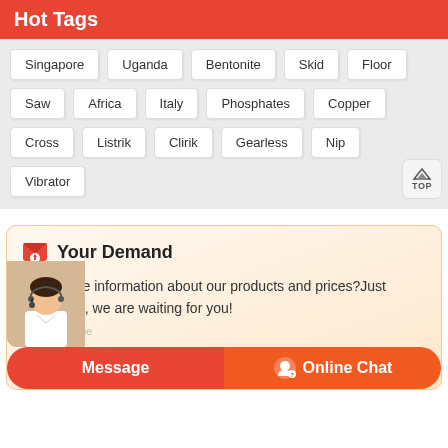Hot Tags
Singapore
Uganda
Bentonite
Skid
Floor
Saw
Africa
Italy
Phosphates
Copper
Cross
Listrik
Clirik
Gearless
Nip
Vibrator
Your Demand
Need more information about our products and prices?Just contact us, we are waiting for you!
Message
Online Chat
Productname